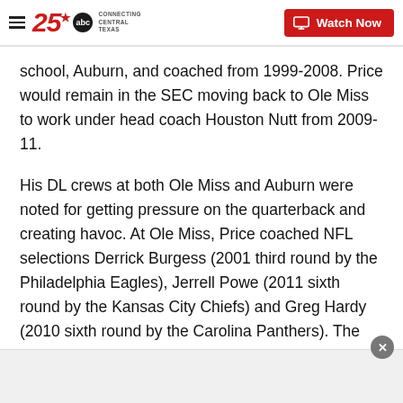25 ABC — Connecting Central Texas | Watch Now
school, Auburn, and coached from 1999-2008. Price would remain in the SEC moving back to Ole Miss to work under head coach Houston Nutt from 2009-11.
His DL crews at both Ole Miss and Auburn were noted for getting pressure on the quarterback and creating havoc. At Ole Miss, Price coached NFL selections Derrick Burgess (2001 third round by the Philadelphia Eagles), Jerrell Powe (2011 sixth round by the Kansas City Chiefs) and Greg Hardy (2010 sixth round by the Carolina Panthers). The 2005 Auburn DL led the SEC